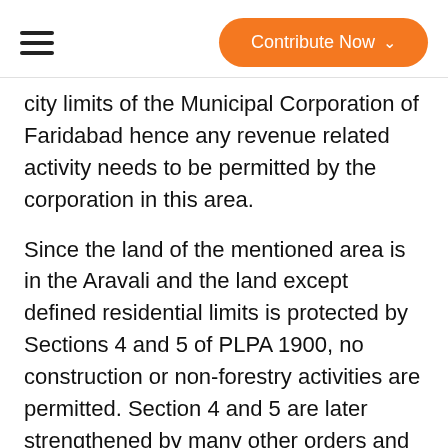Contribute Now
city limits of the Municipal Corporation of Faridabad hence any revenue related activity needs to be permitted by the corporation in this area.
Since the land of the mentioned area is in the Aravali and the land except defined residential limits is protected by Sections 4 and 5 of PLPA 1900, no construction or non-forestry activities are permitted. Section 4 and 5 are later strengthened by many other orders and notifications of the honorable Supreme Court of India.